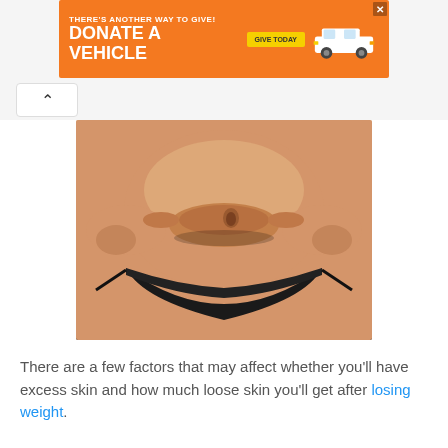[Figure (infographic): Orange advertisement banner: THERE'S ANOTHER WAY TO GIVE! DONATE A VEHICLE - GIVE TODAY with car image]
[Figure (photo): Close-up photo of a person's midsection showing loose/excess skin around the abdomen, wearing black bikini bottoms, hands pinching skin on both sides]
There are a few factors that may affect whether you'll have excess skin and how much loose skin you'll get after losing weight.
Smoking:
Patients who are smokers may be at higher risk for loose